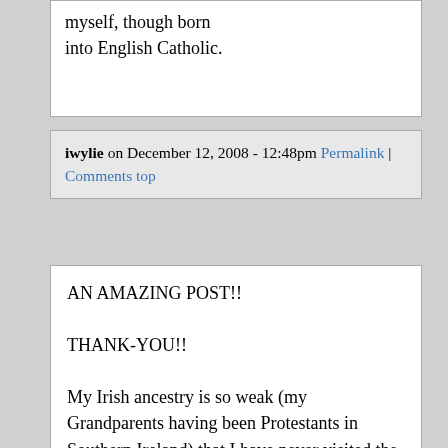myself, though born into English Catholic.
iwylie on December 12, 2008 - 12:48pm Permalink | Comments top
AN AMAZING POST!!

THANK-YOU!!

My Irish ancestry is so weak (my Grandparents having been Protestants in Southern Ireland) that I have never visited the Island. Much to my regret and dismay. I believe that your conclusions for the world as a whole are excellent. I hope that they are timely enough to cause proper reflection and proper action to remedy the situation.